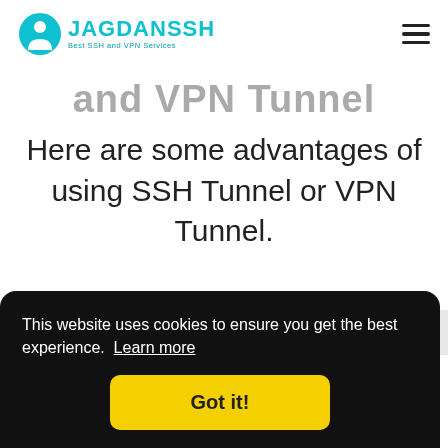JAGDANSSH Best SSH and VPN Services
and VPN Tunnel
Here are some advantages of using SSH Tunnel or VPN Tunnel.
This website uses cookies to ensure you get the best experience. Learn more
Got it!